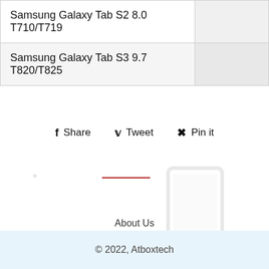| Device |  |
| --- | --- |
| Samsung Galaxy Tab S2 8.0 T710/T719 |  |
| Samsung Galaxy Tab S3 9.7 T820/T825 |  |
Share  Tweet  Pin it
[Figure (illustration): Faint watermark illustration of a tablet/laptop device]
About Us
Contact Us
Search
© 2022, Atboxtech